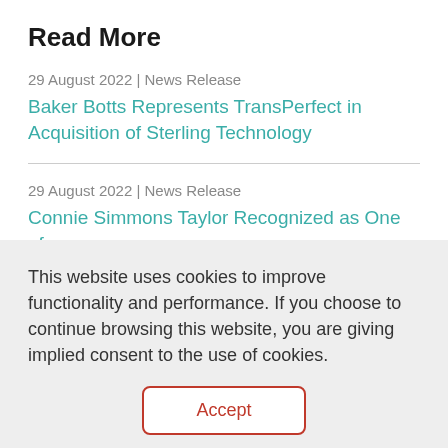Read More
29 August 2022 | News Release
Baker Botts Represents TransPerfect in Acquisition of Sterling Technology
29 August 2022 | News Release
Connie Simmons Taylor Recognized as One of Houston Business Journal's "Women Who Mean...
This website uses cookies to improve functionality and performance. If you choose to continue browsing this website, you are giving implied consent to the use of cookies.
Accept